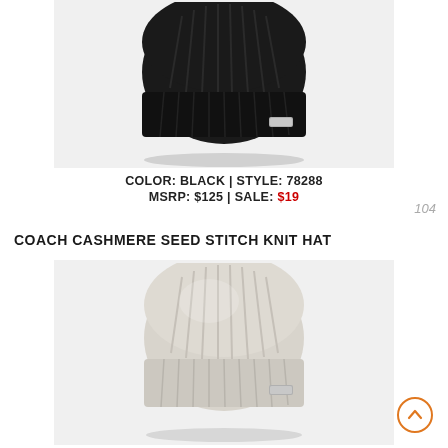[Figure (photo): Black ribbed knit cashmere beanie hat with folded cuff and small silver metal logo badge on front right, photographed on light gray background]
COLOR: BLACK | STYLE: 78288
MSRP: $125 | SALE: $19
COACH CASHMERE SEED STITCH KNIT HAT
[Figure (photo): Light gray/cream ribbed knit cashmere beanie hat with folded cuff and small silver metal logo badge, photographed on light gray background]